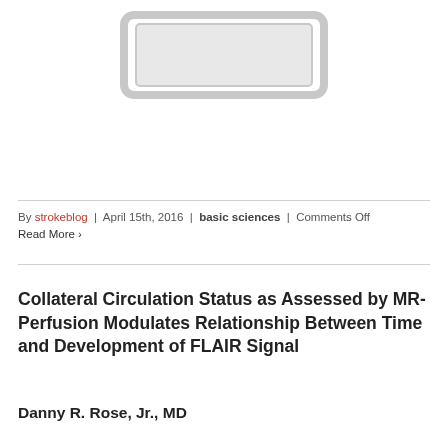[Figure (illustration): Partial view of a tablet/device icon rendered as a light gray outline shape at the top of the page]
By strokeblog | April 15th, 2016 | basic sciences | Comments Off
Read More ›
Collateral Circulation Status as Assessed by MR-Perfusion Modulates Relationship Between Time and Development of FLAIR Signal
Danny R. Rose, Jr., MD